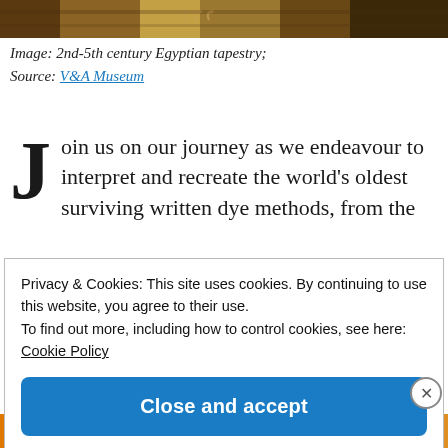[Figure (photo): Top strip showing a fragment of an ancient Egyptian tapestry with decorative patterns in brown, gold, and dark tones.]
Image: 2nd-5th century Egyptian tapestry; Source: V&A Museum
Join us on our journey as we endeavour to interpret and recreate the world's oldest surviving written dye methods, from the
Privacy & Cookies: This site uses cookies. By continuing to use this website, you agree to their use.
To find out more, including how to control cookies, see here: Cookie Policy
Close and accept
[Figure (photo): Bottom strip showing brightly colored textile or printed fabric with orange, yellow, green, red, purple, and blue sections with decorative patterns.]